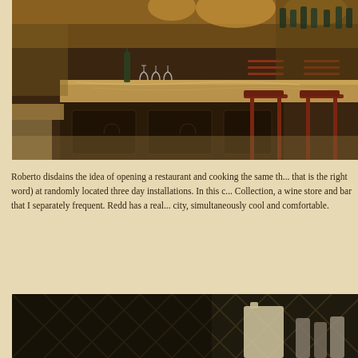[Figure (photo): Interior of a bar/restaurant showing a dark wood bar counter with marble top, bar stools with dark red wooden frames, wine glasses and bottles arranged on the bar, warm yellow lighting from above, shelves with bottles in the background]
Roberto disdains the idea of opening a restaurant and cooking the same th... that is the right word) at randomly located three day installations. In this c... Collection, a wine store and bar that I separately frequent. Redd has a real... city, simultaneously cool and comfortable.
[Figure (photo): Interior of what appears to be a wine bar or cellar area with dark metal/wood lattice wine rack structure and some bottles or items on a surface, dark moody lighting]